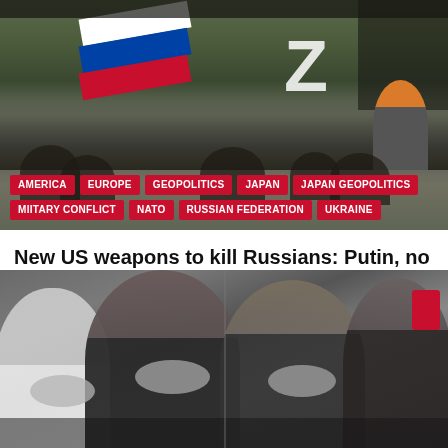[Figure (photo): Outdoor rally or protest scene with people holding a Russian flag (white, blue, red stripes) and a large Z symbol on a dark background. Crowd visible in foreground.]
AMERICA
EUROPE
GEOPOLITICS
JAPAN
JAPAN GEOPOLITICS
MIITARY CONFLICT
NATO
RUSSIAN FEDERATION
UKRAINE
New US weapons to kill Russians: Putin, no red lines – Japan and South Korea
August 20, 2022 / Lee Jay
[Figure (photo): Crowd of Asian people wearing face masks, seen in an urban setting.]